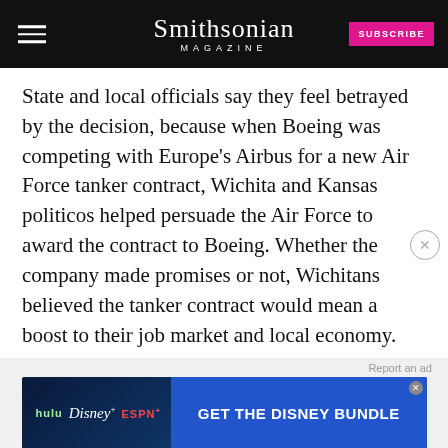Smithsonian MAGAZINE
State and local officials say they feel betrayed by the decision, because when Boeing was competing with Europe's Airbus for a new Air Force tanker contract, Wichita and Kansas politicos helped persuade the Air Force to award the contract to Boeing. Whether the company made promises or not, Wichitans believed the tanker contract would mean a boost to their job market and local economy.
[Figure (screenshot): Advertisement banner for Disney Bundle featuring Hulu, Disney+, ESPN+ logos with blue CTA button reading GET THE DISNEY BUNDLE]